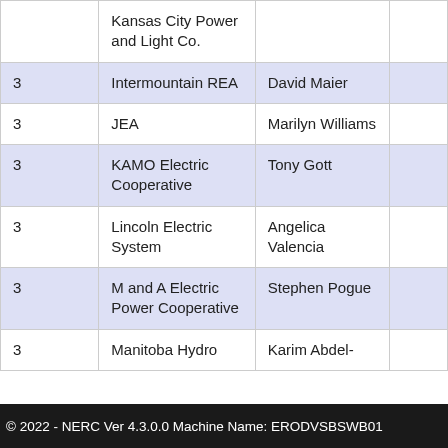|  |  |  |  |
| --- | --- | --- | --- |
|  | Kansas City Power and Light Co. |  |  |
| 3 | Intermountain REA | David Maier |  |
| 3 | JEA | Marilyn Williams |  |
| 3 | KAMO Electric Cooperative | Tony Gott |  |
| 3 | Lincoln Electric System | Angelica Valencia |  |
| 3 | M and A Electric Power Cooperative | Stephen Pogue |  |
| 3 | Manitoba Hydro | Karim Abdel- |  |
© 2022 - NERC Ver 4.3.0.0 Machine Name: ERODVSBSWB01